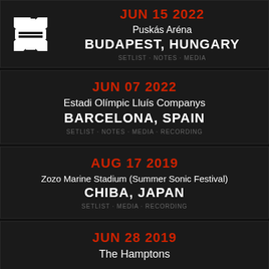[Figure (logo): White asterisk/snowflake logo icon for the band]
JUN 15 2022
Puskás Aréna
BUDAPEST, HUNGARY
SETLIST · NOTES · MEDIA
JUN 07 2022
Estadi Olímpic Lluís Companys
BARCELONA, SPAIN
SETLIST · NOTES · MEDIA · RECORDING
AUG 17 2019
Zozo Marine Stadium (Summer Sonic Festival)
CHIBA, JAPAN
SETLIST · MEDIA · RECORDING
JUN 28 2019
The Hamptons